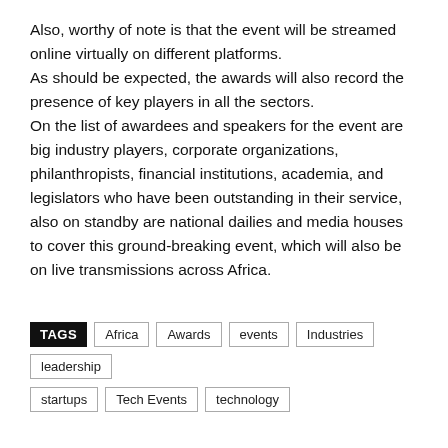Also, worthy of note is that the event will be streamed online virtually on different platforms. As should be expected, the awards will also record the presence of key players in all the sectors. On the list of awardees and speakers for the event are big industry players, corporate organizations, philanthropists, financial institutions, academia, and legislators who have been outstanding in their service, also on standby are national dailies and media houses to cover this ground-breaking event, which will also be on live transmissions across Africa.
TAGS Africa Awards events Industries leadership startups Tech Events technology